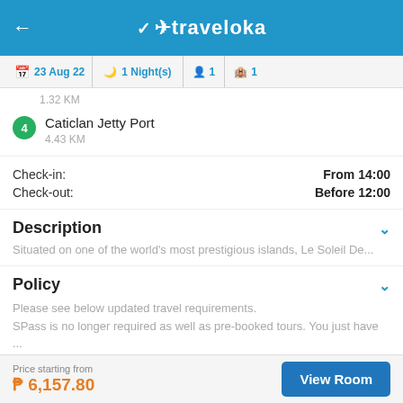traveloka
23 Aug 22  1 Night(s)  1  1
1.32 KM
4 Caticlan Jetty Port
4.43 KM
Check-in: From 14:00
Check-out: Before 12:00
Description
Situated on one of the world's most prestigious islands, Le Soleil De...
Policy
Please see below updated travel requirements.
SPass is no longer required as well as pre-booked tours. You just have ...
Price starting from
P 6,157.80
View Room